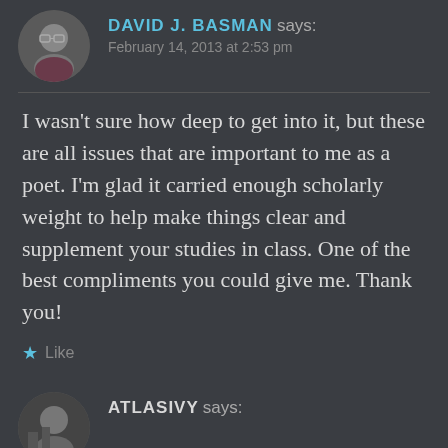[Figure (photo): Circular avatar photo of a man with glasses wearing a plaid shirt]
DAVID J. BASMAN says:
February 14, 2013 at 2:53 pm
I wasn't sure how deep to get into it, but these are all issues that are important to me as a poet. I'm glad it carried enough scholarly weight to help make things clear and supplement your studies in class. One of the best compliments you could give me. Thank you!
★ Like
[Figure (photo): Circular avatar photo of a second commenter]
ATLASIVY says: